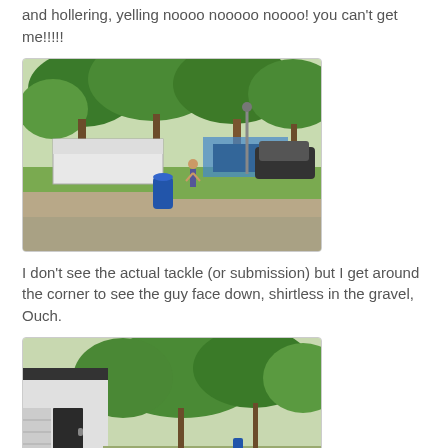and hollering, yelling noooo nooooo noooo! you can't get me!!!!!
[Figure (photo): Outdoor camping ground scene with RVs, trailers, trees, gravel road, a blue barrel, and people standing around on a sunny day.]
I don't see the actual tackle (or submission) but I get around the corner to see the guy face down, shirtless in the gravel, Ouch.
[Figure (photo): Outdoor scene showing a building with a dark door on the left and large green trees in the background, with a blue barrel visible in the distance.]